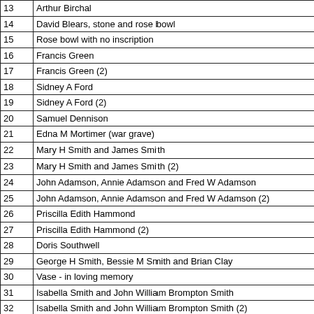| # | Description |
| --- | --- |
| 13 | Arthur Birchal |
| 14 | David Blears, stone and rose bowl |
| 15 | Rose bowl with no inscription |
| 16 | Francis Green |
| 17 | Francis Green (2) |
| 18 | Sidney A Ford |
| 19 | Sidney A Ford (2) |
| 20 | Samuel Dennison |
| 21 | Edna M Mortimer (war grave) |
| 22 | Mary H Smith and James Smith |
| 23 | Mary H Smith and James Smith (2) |
| 24 | John Adamson, Annie Adamson and Fred W Adamson |
| 25 | John Adamson, Annie Adamson and Fred W Adamson (2) |
| 26 | Priscilla Edith Hammond |
| 27 | Priscilla Edith Hammond (2) |
| 28 | Doris Southwell |
| 29 | George H Smith, Bessie M Smith and Brian Clay |
| 30 | Vase - in loving memory |
| 31 | Isabella Smith and John William Brompton Smith |
| 32 | Isabella Smith and John William Brompton Smith (2) |
| 33 | Frederick William Brown |
| 34 | Frederick William Brown (2) |